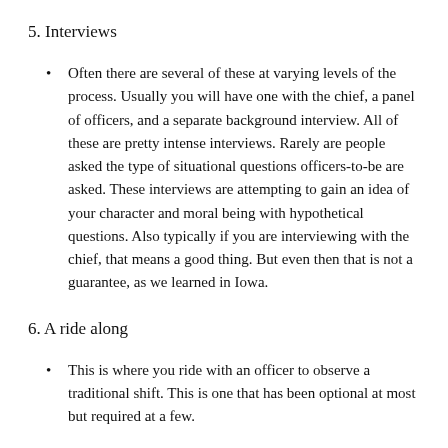5. Interviews
Often there are several of these at varying levels of the process. Usually you will have one with the chief, a panel of officers, and a separate background interview. All of these are pretty intense interviews. Rarely are people asked the type of situational questions officers-to-be are asked. These interviews are attempting to gain an idea of your character and moral being with hypothetical questions. Also typically if you are interviewing with the chief, that means a good thing. But even then that is not a guarantee, as we learned in Iowa.
6. A ride along
This is where you ride with an officer to observe a traditional shift. This is one that has been optional at most but required at a few.